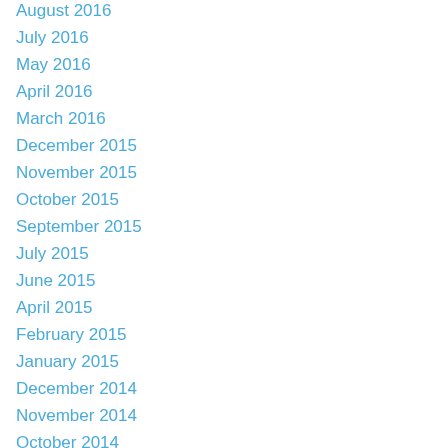August 2016
July 2016
May 2016
April 2016
March 2016
December 2015
November 2015
October 2015
September 2015
July 2015
June 2015
April 2015
February 2015
January 2015
December 2014
November 2014
October 2014
September 2014
August 2014
July 2014